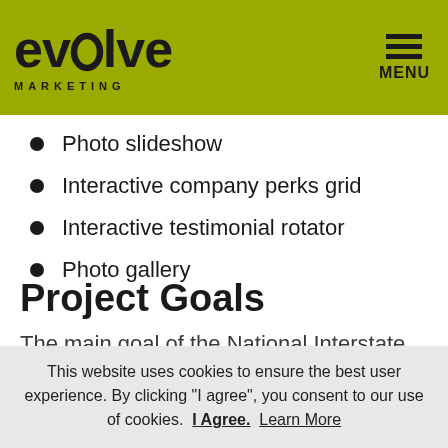[Figure (logo): Evolve Marketing logo on olive/yellow-green background with hamburger menu icon and MENU label]
Photo slideshow
Interactive company perks grid
Interactive testimonial rotator
Photo gallery
Project Goals
The main goal of the National Interstate
This website uses cookies to ensure the best user experience. By clicking "I agree", you consent to our use of cookies.  I Agree.  Learn More